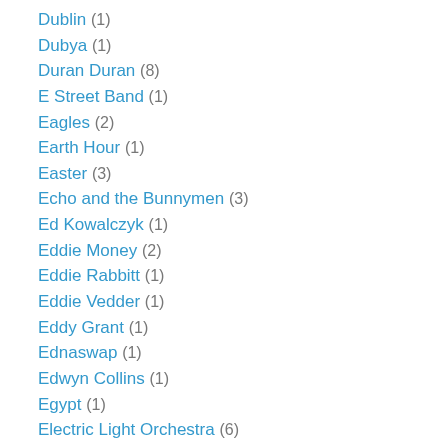Dublin (1)
Dubya (1)
Duran Duran (8)
E Street Band (1)
Eagles (2)
Earth Hour (1)
Easter (3)
Echo and the Bunnymen (3)
Ed Kowalczyk (1)
Eddie Money (2)
Eddie Rabbitt (1)
Eddie Vedder (1)
Eddy Grant (1)
Ednaswap (1)
Edwyn Collins (1)
Egypt (1)
Electric Light Orchestra (6)
Elton John (14)
Elvis Costello (5)
Elvis Presley (1)